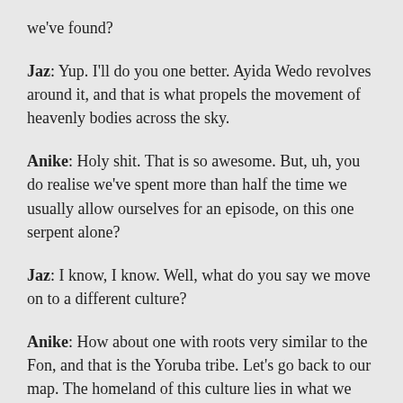we've found?
Jaz: Yup. I'll do you one better. Ayida Wedo revolves around it, and that is what propels the movement of heavenly bodies across the sky.
Anike: Holy shit. That is so awesome. But, uh, you do realise we've spent more than half the time we usually allow ourselves for an episode, on this one serpent alone?
Jaz: I know, I know. Well, what do you say we move on to a different culture?
Anike: How about one with roots very similar to the Fon, and that is the Yoruba tribe. Let's go back to our map. The homeland of this culture lies in what we